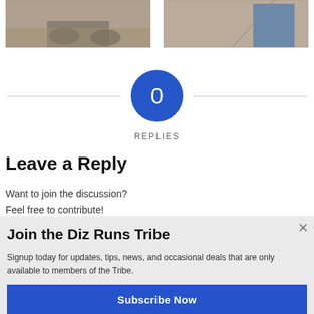[Figure (photo): Two cropped photos side by side: left shows a runner's shoes on pavement, right shows a person in a blue running shirt outdoors.]
0
REPLIES
Leave a Reply
Want to join the discussion?
Feel free to contribute!
Join the Diz Runs Tribe
Signup today for updates, tips, news, and occasional deals that are only available to members of the Tribe.
Enter your Email
Subscribe Now